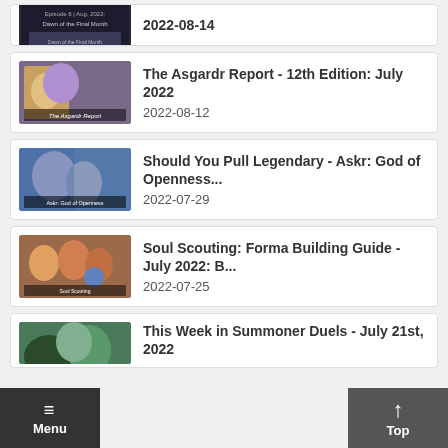Final Month — 2022-08-14
The Asgardr Report - 12th Edition: July 2022 — 2022-08-12
Should You Pull Legendary - Askr: God of Openness... — 2022-07-29
Soul Scouting: Forma Building Guide - July 2022: B... — 2022-07-25
This Week in Summoner Duels - July 21st, 2022